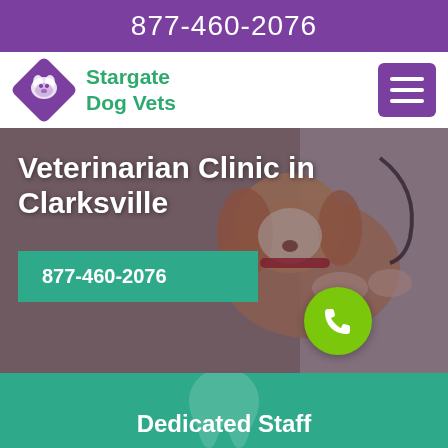877-460-2076
Stargate Dog Vets
[Figure (logo): Purple diamond-shaped logo with a dog silhouette inside]
[Figure (photo): A Cavalier King Charles Spaniel dog being examined by a veterinarian in a white coat using a stethoscope]
Veterinarian Clinic in Clarksville
877-460-2076
[Figure (illustration): Green circle button with a phone/call icon]
Dedicated Staff